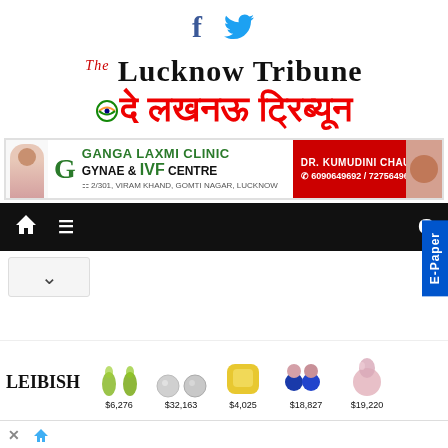[Figure (logo): Facebook and Twitter social media icons]
[Figure (logo): The Lucknow Tribune newspaper logo in English and Hindi (द लखनऊ ट्रिब्यून)]
[Figure (infographic): Ganga Laxmi Clinic Gynae & IVF Centre advertisement banner with Dr. Kumudini Chauhan, address 2/301 Viram Khand, Gomti Nagar, Lucknow, phone 6090649692 / 7275649692]
[Figure (screenshot): Navigation bar with home icon, hamburger menu, and partial search icon on dark background. E-Paper tab on right side.]
[Figure (screenshot): Dropdown selector arrow on light grey background]
[Figure (infographic): Leibish jewelry advertisement showing gemstones with prices: $6,276, $32,163, $4,025, $18,827, $19,220]